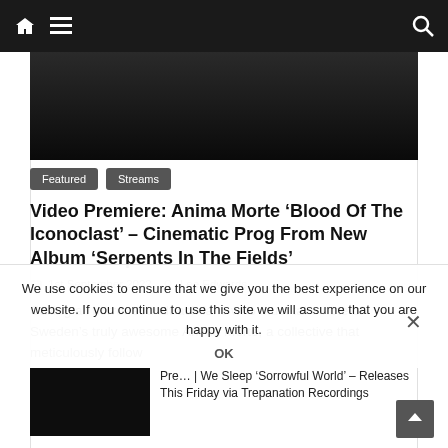Navigation bar with home icon, menu icon, and search icon
[Figure (photo): Dark hero image, appears to be a dark shadowy background]
Featured
Streams
Video Premiere: Anima Morte ‘Blood Of The Iconoclast’ – Cinematic Prog From New Album ‘Serpents In The Fields’
1st September 2022  Lee Edwards
Calling all horror soundtrack fans who must take note of Sweden’s truly awesome Anima Morte, a collective that meticulously follow
We use cookies to ensure that we give you the best experience on our website. If you continue to use this site we will assume that you are happy with it.
OK
[Figure (photo): Small dark thumbnail image for related article]
Pre… | We Sleep ‘Sorrowful World’ – Releases This Friday via Trepanation Recordings